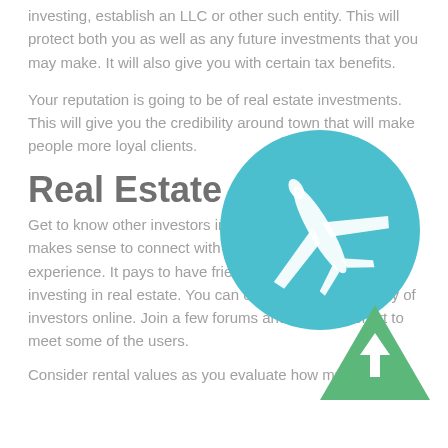investing, establish an LLC or other such entity. This will protect both you as well as any future investments that you may make. It will also give you with certain tax benefits.
Your reputation is going to be of real estate investments. This will give you the credibility around town that will make people more loyal clients.
Real Estate
Get to know other investors in your local real estate. It makes sense to connect with others who have more experience. It pays to have friends that know about investing in real estate. You can easily find a community of investors online. Join a few forums and make an effort to meet some of the users.
Consider rental values as you evaluate how much a
[Figure (illustration): Teal/cyan circle with a white airplane silhouette flying to the upper right, decorative overlay element]
[Figure (illustration): Green upward-pointing triangle with a white upward arrow inside, scroll-to-top button]